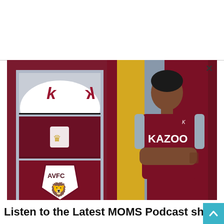[Figure (photo): Aston Villa football kit promotional image showing close-ups of the Kappa logo, AVFC lion crest badge, and a player wearing the claret and blue home kit with KAZOO sponsor, arms crossed, against a yellow/blue striped background.]
Listen to the Latest MOMS Podcast sho